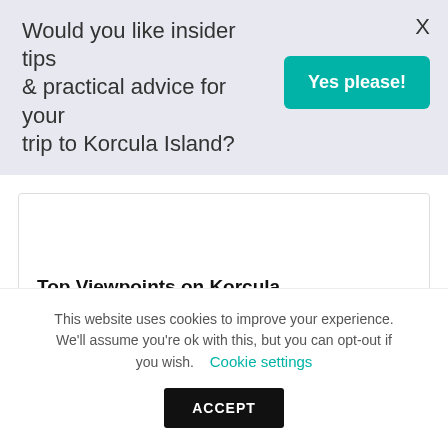Would you like insider tips & practical advice for your trip to Korcula Island?
Yes please!
X
Top Viewpoints on Korcula
[Figure (photo): Photo of Korcula island landscape with sky and coastline, overlaid with a teal pill-shaped label reading 'THINGS TO DO KORCULA']
This website uses cookies to improve your experience. We'll assume you're ok with this, but you can opt-out if you wish.
Cookie settings
ACCEPT